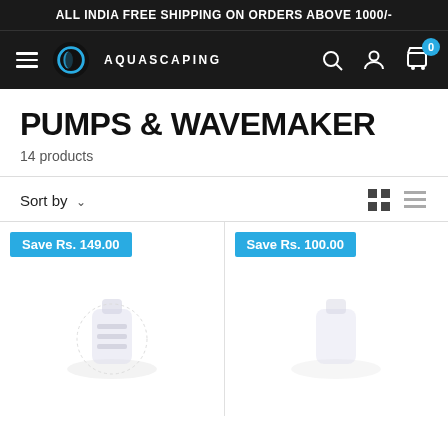ALL INDIA FREE SHIPPING ON ORDERS ABOVE 1000/-
[Figure (logo): Aquascaping logo with circular blue-black icon and text AQUASCAPING]
PUMPS & WAVEMAKER
14 products
Sort by
Save Rs. 149.00
Save Rs. 100.00